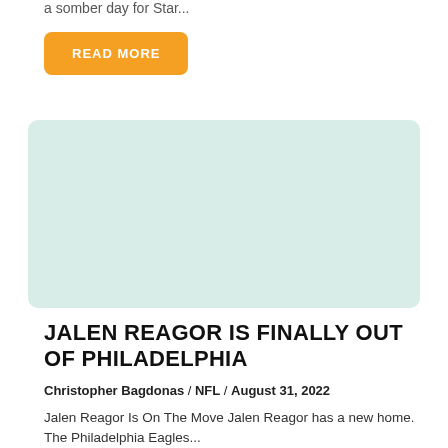a somber day for Star...
READ MORE
[Figure (illustration): Rounded rectangle placeholder image with light mint/teal background color]
JALEN REAGOR IS FINALLY OUT OF PHILADELPHIA
Christopher Bagdonas / NFL / August 31, 2022
Jalen Reagor Is On The Move Jalen Reagor has a new home. The Philadelphia Eagles...